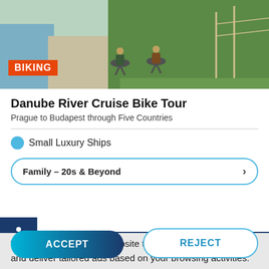[Figure (photo): Two cyclists riding bikes on a paved path alongside a river, with green grass and trees in the background. An orange 'BIKING' badge overlays the bottom-left of the image.]
Danube River Cruise Bike Tour
Prague to Budapest through Five Countries
Small Luxury Ships
Family – 20s & Beyond
We use cookies on our website to enhance your experience and deliver tailored ads based on your browsing activities. By clicking 'Accept', you agree to our use of cookies. Read our Privacy Policy to learn more about how to manage your cookies.
ACCEPT
REJECT